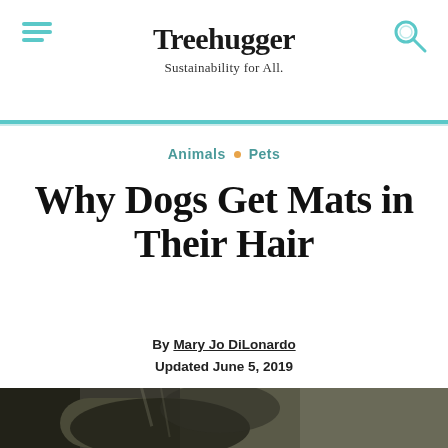Treehugger — Sustainability for All.
Animals • Pets
Why Dogs Get Mats in Their Hair
By Mary Jo DiLonardo
Updated June 5, 2019
[Figure (photo): Close-up photo of a black dog with matted hair being handled by a person wearing an olive/khaki jacket]